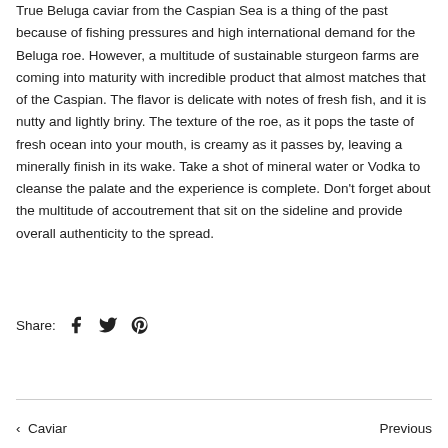True Beluga caviar from the Caspian Sea is a thing of the past because of fishing pressures and high international demand for the Beluga roe. However, a multitude of sustainable sturgeon farms are coming into maturity with incredible product that almost matches that of the Caspian. The flavor is delicate with notes of fresh fish, and it is nutty and lightly briny. The texture of the roe, as it pops the taste of fresh ocean into your mouth, is creamy as it passes by, leaving a minerally finish in its wake. Take a shot of mineral water or Vodka to cleanse the palate and the experience is complete. Don't forget about the multitude of accoutrement that sit on the sideline and provide overall authenticity to the spread.
Share: [Facebook icon] [Twitter icon] [Pinterest icon]
‹ Caviar    Previous